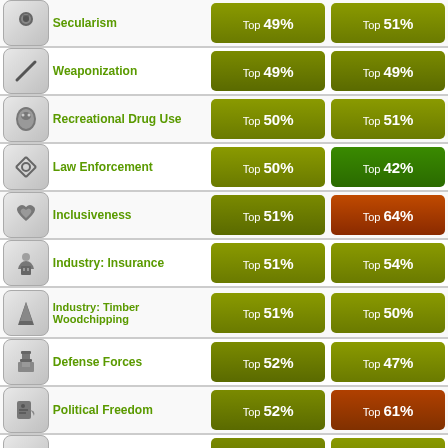| Icon | Category | Col1 | Col2 |
| --- | --- | --- | --- |
| Secularism | Top 49% | Top 51% |
| Weaponization | Top 49% | Top 49% |
| Recreational Drug Use | Top 50% | Top 51% |
| Law Enforcement | Top 50% | Top 42% |
| Inclusiveness | Top 51% | Top 64% |
| Industry: Insurance | Top 51% | Top 54% |
| Industry: Timber Woodchipping | Top 51% | Top 50% |
| Defense Forces | Top 52% | Top 47% |
| Political Freedom | Top 52% | Top 61% |
| Eco-Friendliness | Top 52% | Top 46% |